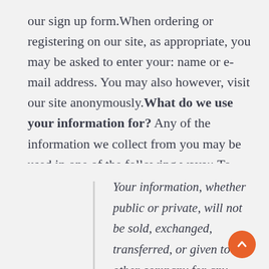our sign up form.When ordering or registering on our site, as appropriate, you may be asked to enter your: name or e-mail address. You may also however, visit our site anonymously.What do we use your information for? Any of the information we collect from you may be used in one of the following ways:; To send periodic emails
Your information, whether public or private, will not be sold, exchanged, transferred, or given to any other company for any reason whatsoever,